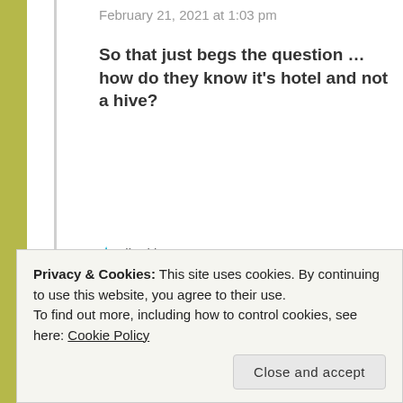February 21, 2021 at 1:03 pm
So that just begs the question … how do they know it's hotel and not a hive?
★ Liked by 1 person
FORESTWOOD
February 21, 2021 at 1:07 pm
Privacy & Cookies: This site uses cookies. By continuing to use this website, you agree to their use. To find out more, including how to control cookies, see here: Cookie Policy
Close and accept